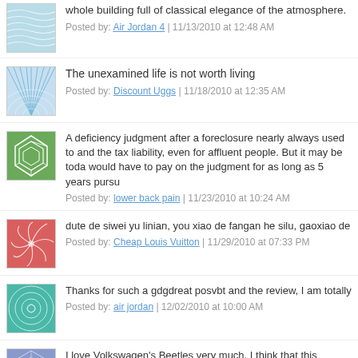[Figure (illustration): Blue wavy lines pattern avatar]
whole building full of classical elegance of the atmosphere.
Posted by: Air Jordan 4 | 11/13/2010 at 12:48 AM
[Figure (illustration): Blue radiating lines pattern avatar]
The unexamined life is not worth living
Posted by: Discount Uggs | 11/18/2010 at 12:35 AM
[Figure (illustration): Green geometric polygon pattern avatar]
A deficiency judgment after a foreclosure nearly always used to and the tax liability, even for affluent people. But it may be toda would have to pay on the judgment for as long as 5 years pursu
Posted by: lower back pain | 11/23/2010 at 10:24 AM
[Figure (illustration): Red spiral/flower pattern avatar]
dute de siwei yu linian, you xiao de fangan he silu, gaoxiao de
Posted by: Cheap Louis Vuitton | 11/29/2010 at 07:33 PM
[Figure (illustration): Teal/green circular pattern avatar]
Thanks for such a gdgdreat posvbt and the review, I am totally
Posted by: air jordan | 12/02/2010 at 10:00 AM
[Figure (illustration): Purple/blue geometric pattern avatar]
I love Volkswagen's Beetles very much. I think that this advertis